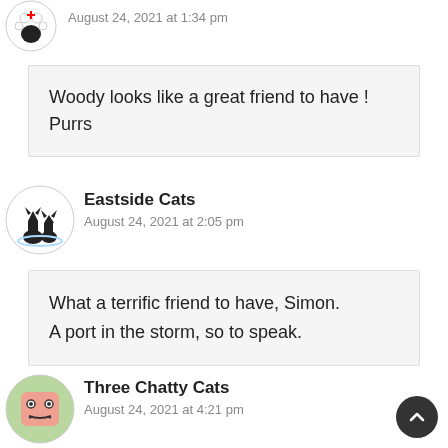August 24, 2021 at 1:34 pm
Woody looks like a great friend to have ! Purrs
Eastside Cats
August 24, 2021 at 2:05 pm
What a terrific friend to have, Simon.
A port in the storm, so to speak.
Three Chatty Cats
August 24, 2021 at 4:21 pm